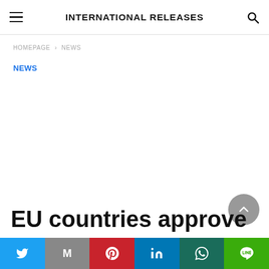INTERNATIONAL RELEASES
HOMEPAGE > NEWS
NEWS
EU countries approve
Twitter | Gmail | Pinterest | LinkedIn | WhatsApp | LINE